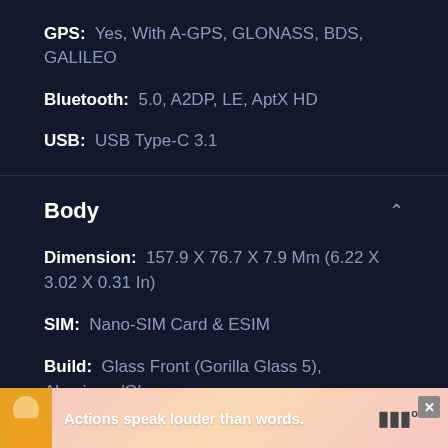GPS: Yes, With A-GPS, GLONASS, BDS, GALILEO
Bluetooth: 5.0, A2DP, LE, AptX HD
USB: USB Type-C 3.1
Body
Dimension: 157.9 X 76.7 X 7.9 Mm (6.22 X 3.02 X 0.31 In)
SIM: Nano-SIM Card & ESIM
Build: Glass Front (Gorilla Glass 5), Aluminum/Glass
Actions speak louder than words.